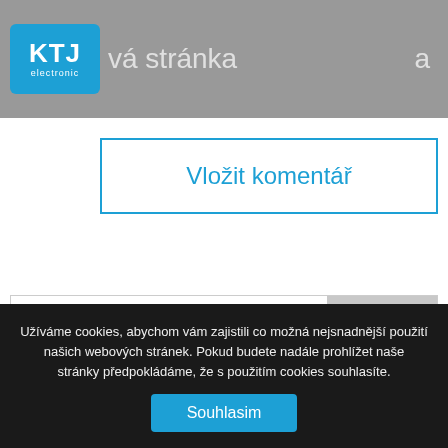KTJ electronic — vá stránka  a
[Figure (logo): KTJ electronic logo, blue rounded rectangle with white KTJ text and electronic subtitle]
Vložit komentář
Hledat
Nejnovější příspěvky
Užíváme cookies, abychom vám zajistili co možná nejsnadnější použití našich webových stránek. Pokud budete nadále prohlížet naše stránky předpokládáme, že s použitím cookies souhlasíte.
Souhlasim